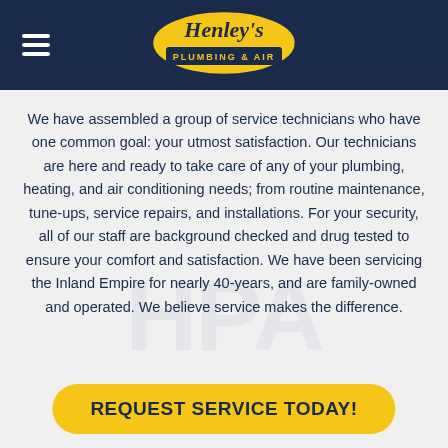Henley's Plumbing & Air
We have assembled a group of service technicians who have one common goal: your utmost satisfaction. Our technicians are here and ready to take care of any of your plumbing, heating, and air conditioning needs; from routine maintenance, tune-ups, service repairs, and installations. For your security, all of our staff are background checked and drug tested to ensure your comfort and satisfaction. We have been servicing the Inland Empire for nearly 40-years, and are family-owned and operated. We believe service makes the difference.
REQUEST SERVICE TODAY!